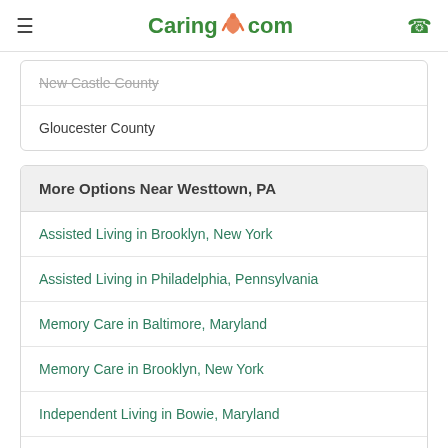Caring.com
New Castle County (strikethrough/faded)
Gloucester County
More Options Near Westtown, PA
Assisted Living in Brooklyn, New York
Assisted Living in Philadelphia, Pennsylvania
Memory Care in Baltimore, Maryland
Memory Care in Brooklyn, New York
Independent Living in Bowie, Maryland
Senior Living in Brooklyn, New York